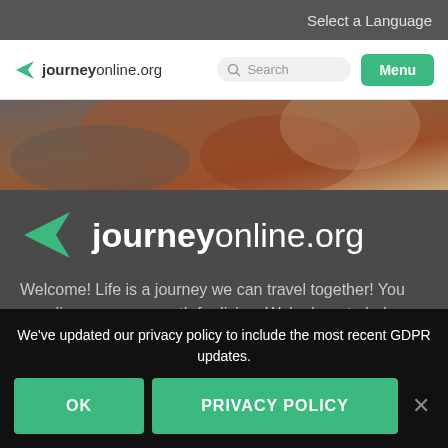Select a Language
[Figure (logo): journeyonline.org logo with teal arrow icon, search box, and Menu button in navigation bar]
[Figure (photo): Hero image showing fabric in warm brown/rust tones]
journeyonline.org
Welcome! Life is a journey we can travel together! You can discover a new path for living. We're here to help you find ways to make sense of tough life issues,
We've updated our privacy policy to include the most recent GDPR updates.
OK
PRIVACY POLICY